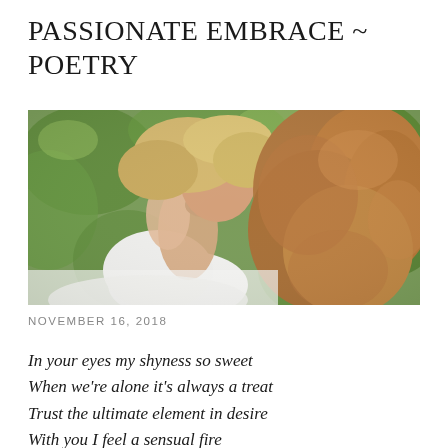PASSIONATE EMBRACE ~ POETRY
[Figure (photo): Two people in a romantic embrace outdoors, surrounded by green foliage. One person with blonde hair, another with long wavy auburn/blonde hair, wearing white clothing.]
NOVEMBER 16, 2018
In your eyes my shyness so sweet
When we're alone it's always a treat
Trust the ultimate element in desire
With you I feel a sensual fire
We have wonderful things to share